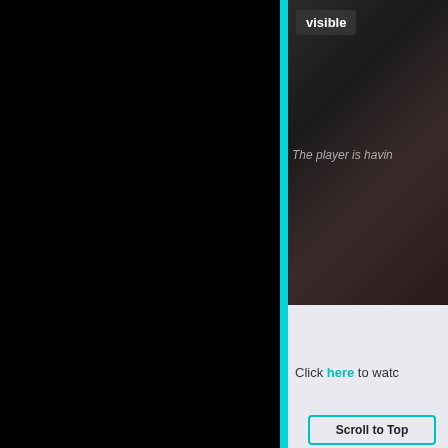[Figure (screenshot): Black left panel taking up roughly 60% of the page width]
[Figure (screenshot): Dark video player area showing a dimly lit scene with a 'visible' badge in the top-left corner and text 'The player is havin' overlaid on the video]
Click here to watc
Scroll to Top